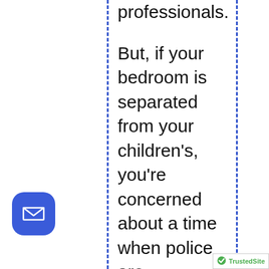professionals.
But, if your bedroom is separated from your children’s, you’re concerned about a time when police are overwhelmed and can’t respond, or you just live in one of the many parts of the country where law enforcement response times stretch past 15-20